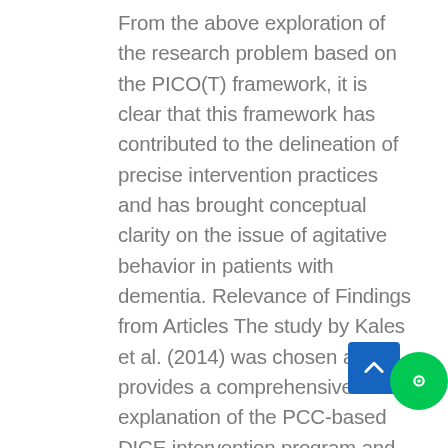From the above exploration of the research problem based on the PICO(T) framework, it is clear that this framework has contributed to the delineation of precise intervention practices and has brought conceptual clarity on the issue of agitative behavior in patients with dementia. Relevance of Findings from Articles The study by Kales et al. (2014) was chosen as it provides a comprehensive explanation of the PCC-based DICE intervention program and its potential outcomes and draws an objective comparison of the program with pharmacological intervention. The study observed that the DICE model was developed by a panel of experts with years of clinical and research expertise in managing NPS in patients with dementia. The strategies formulated in the DICE approach were found